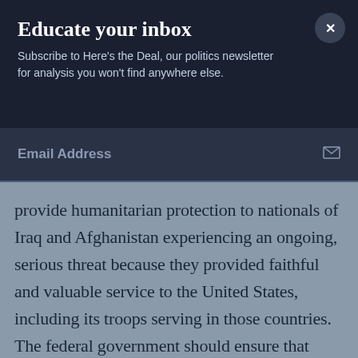Educate your inbox
Subscribe to Here's the Deal, our politics newsletter for analysis you won't find anywhere else.
Email Address
provide humanitarian protection to nationals of Iraq and Afghanistan experiencing an ongoing, serious threat because they provided faithful and valuable service to the United States, including its troops serving in those countries. The federal government should ensure that these important programs are administered without undue delay."